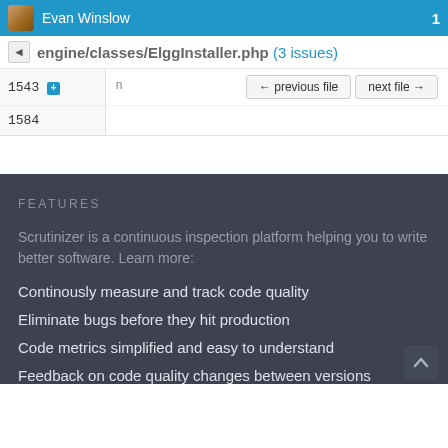Evan Winslow  1
engine/classes/ElggInstaller.php (3 issues)
| Line | Content |
| --- | --- |
| 1543 + | ← previous file   next file → |
| 1584 |  |
FEATURES
Scrutinizer is a continuous inspection platform helping you to write better software. Learn more:
Continously measure and track code quality
Eliminate bugs before they hit production
Code metrics simplified and easy to understand
Feedback on code quality changes between versions